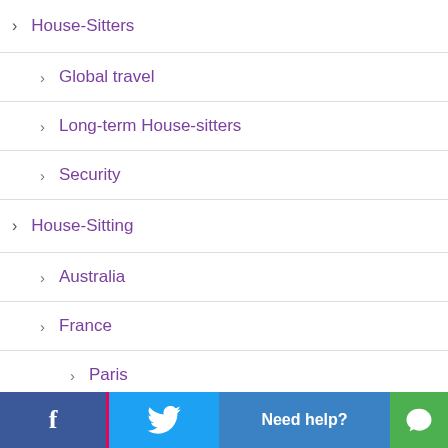House-Sitters
Global travel
Long-term House-sitters
Security
House-Sitting
Australia
France
Paris
House-sitting webinar
Housesit Hangout
f  [Twitter]  Need help?  [Chat]